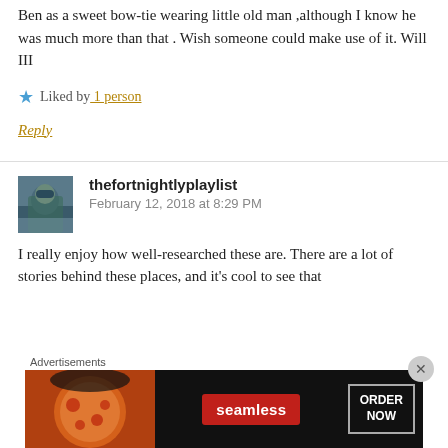Ben as a sweet bow-tie wearing little old man ,although I know he was much more than that . Wish someone could make use of it. Will III
Liked by 1 person
Reply
thefortnightlyplaylist
February 12, 2018 at 8:29 PM
I really enjoy how well-researched these are. There are a lot of stories behind these places, and it's cool to see that
[Figure (screenshot): Advertisement banner for Seamless food delivery showing pizza image, Seamless logo in red, and ORDER NOW button]